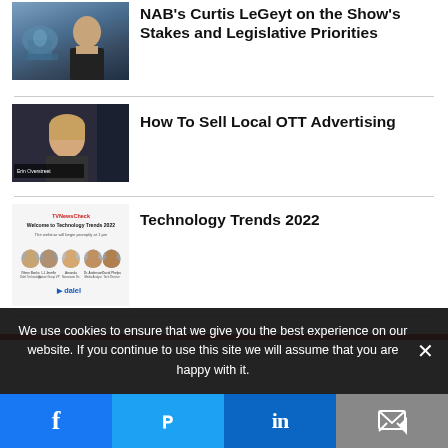[Figure (photo): Thumbnail of man in front of Capitol building]
NAB's Curtis LeGeyt on the Show's Stakes and Legislative Priorities
[Figure (photo): Thumbnail of Erin Overstreet with TV/NewsCheck badge]
How To Sell Local OTT Advertising
[Figure (photo): TV NewsCheck Technology Trends 2022 panel graphic with multiple speakers and Dalel logo]
Technology Trends 2022
We use cookies to ensure that we give you the best experience on our website. If you continue to use this site we will assume that you are happy with it.